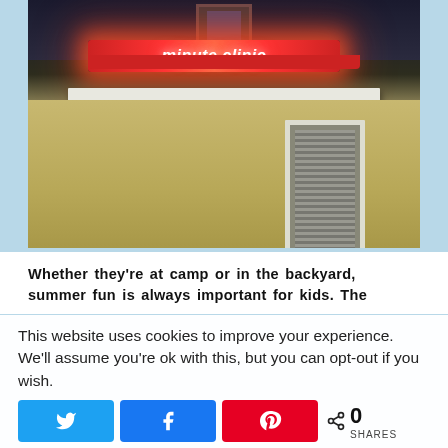[Figure (photo): Exterior nighttime photo of a MinuteClinic building with an illuminated red 'minute clinic' sign glowing on the facade. The building appears to be a light-colored two-story structure with a red awning trim and a door with blinds visible.]
Whether they're at camp or in the backyard, summer fun is always important for kids. The
This website uses cookies to improve your experience. We'll assume you're ok with this, but you can opt-out if you wish.
0 SHARES